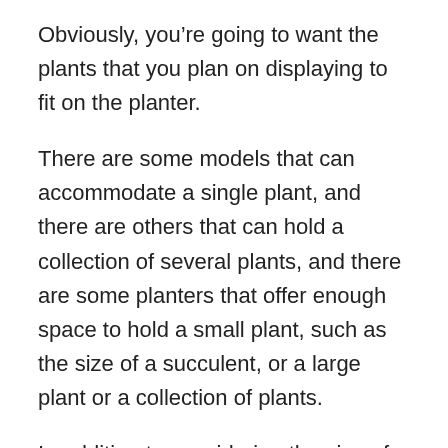Obviously, you’re going to want the plants that you plan on displaying to fit on the planter.
There are some models that can accommodate a single plant, and there are others that can hold a collection of several plants, and there are some planters that offer enough space to hold a small plant, such as the size of a succulent, or a large plant or a collection of plants.
In addition to considering the size of the plants that you’re planning on displaying, you should also consider where you’ll be displaying the planter so that the space can accommodate the